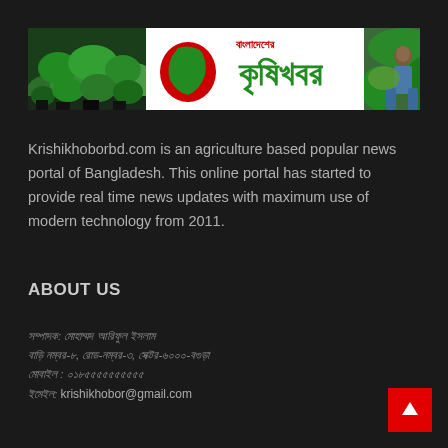[Figure (logo): Banner logo for Krishikhoborbd.com agriculture news portal in Bangladesh, with plant/garden photos on left and right sides, and Bengali text logo in center on white background.]
Krishikhoborbd.com is an agriculture based popular news portal of Bangladesh. This online portal has started to provide real time news updates with maximum use of modern technology from 2011.
ABOUT US
[Bengali text: address line 1]
[Bengali text: address line 2]
[Bengali text: phone/contact]
ইমেইল: krishikhobor@gmail.com